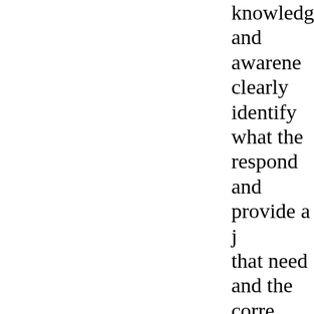knowledge and awareness clearly identify what the respond and provide a j that need and the corre undertake. Applicants sh frequency, and level of e proposed activities in or as well as the expected and the corresponding p As established by HHS G cases, whether HHS fun program resulting in the be given a royalty-free, for the Federal governm otherwise use the mater for Federal purposes, e. government-sponsored researchers.... Data dev subject to this policy"[ii]. grant may be copyright